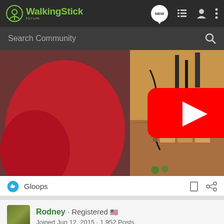WalkingStick Forum
Search Community
[Figure (screenshot): YouTube video thumbnail showing a person in a red shirt in a workshop, with a red YouTube play button overlay in the center]
Gloops
Rodney · Registered 🇺🇸
Joined Jun 12, 2015 · 1,952 Posts